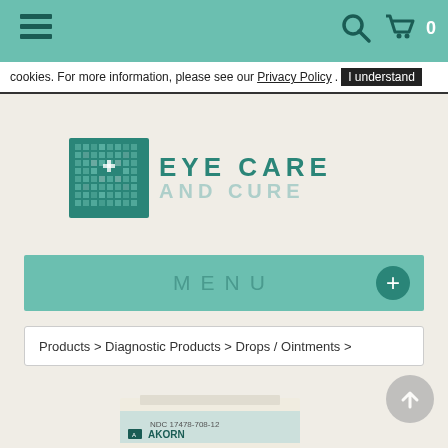Navigation bar with hamburger menu, search icon, cart icon, and 0 count
cookies. For more information, please see our Privacy Policy. I understand
[Figure (logo): Eye Care and Cure logo with teal pixelated eye icon and teal text reading EYE CARE AND CURE]
MENU
Products > Diagnostic Products > Drops / Ointments >
[Figure (photo): Akorn product box, white with teal label showing NDC 17478-708-12 and AKORN brand name]